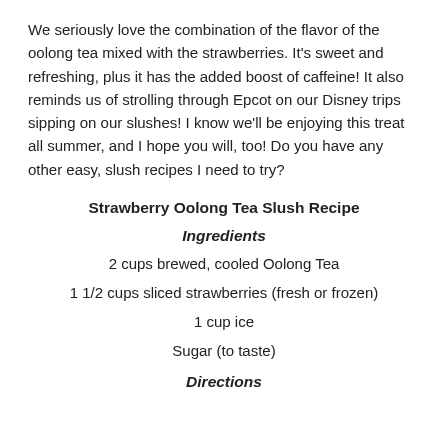We seriously love the combination of the flavor of the oolong tea mixed with the strawberries. It's sweet and refreshing, plus it has the added boost of caffeine! It also reminds us of strolling through Epcot on our Disney trips sipping on our slushes! I know we'll be enjoying this treat all summer, and I hope you will, too! Do you have any other easy, slush recipes I need to try?
Strawberry Oolong Tea Slush Recipe
Ingredients
2 cups brewed, cooled Oolong Tea
1 1/2 cups sliced strawberries (fresh or frozen)
1 cup ice
Sugar (to taste)
Directions